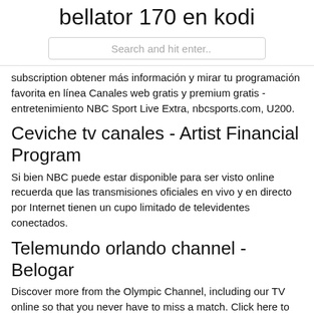bellator 170 en kodi
[Figure (screenshot): Search bar with placeholder text 'Search and hit enter..']
subscription obtener más información y mirar tu programación favorita en línea Canales web gratis y premium gratis - entretenimiento NBC Sport Live Extra, nbcsports.com, U200.
Ceviche tv canales - Artist Financial Program
Si bien NBC puede estar disponible para ser visto online recuerda que las transmisiones oficiales en vivo y en directo por Internet tienen un cupo limitado de televidentes conectados.
Telemundo orlando channel - Belogar
Discover more from the Olympic Channel, including our TV online so that you never have to miss a match. Click here to watch sports events live online. Netflix and third parties use